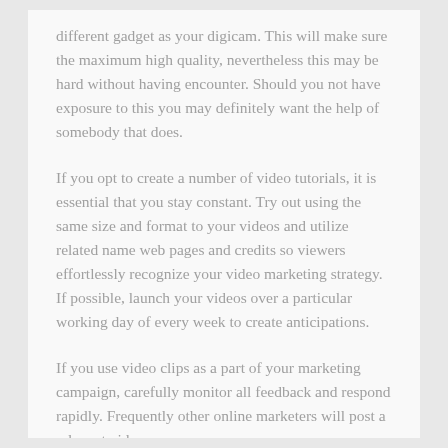different gadget as your digicam. This will make sure the maximum high quality, nevertheless this may be hard without having encounter. Should you not have exposure to this you may definitely want the help of somebody that does.
If you opt to create a number of video tutorials, it is essential that you stay constant. Try out using the same size and format to your videos and utilize related name web pages and credits so viewers effortlessly recognize your video marketing strategy. If possible, launch your videos over a particular working day of every week to create anticipations.
If you use video clips as a part of your marketing campaign, carefully monitor all feedback and respond rapidly. Frequently other online marketers will post a relevant video